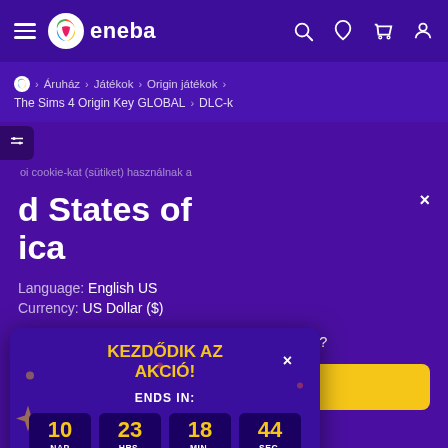eneba
Áruház > Játékok > Origin játékok > The Sims 4 Origin Key GLOBAL > DLC-k
oi cookie-kat (sütiket) használnak a
[Figure (screenshot): Countdown popup with KEZDŐDIK AZ AKCIÓ! title, ENDS IN: 10 NAP 23 HRS. 18 MIN. 44 SEC., See the deals button]
KEZDŐDIK AZ AKCIÓ!
ENDS IN:
10 NAP   23 HRS.   18 MIN.   44 SEC.
See the deals
d States of ica
Language: English US
Currency: US Dollar ($)
Would you like to see a local version of the site?
Yes